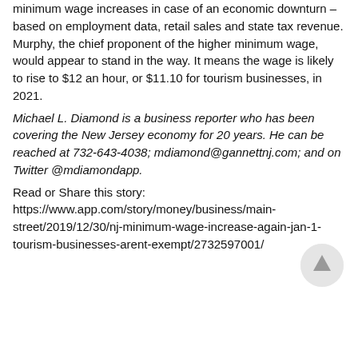minimum wage increases in case of an economic downturn – based on employment data, retail sales and state tax revenue. Murphy, the chief proponent of the higher minimum wage, would appear to stand in the way. It means the wage is likely to rise to $12 an hour, or $11.10 for tourism businesses, in 2021.
Michael L. Diamond is a business reporter who has been covering the New Jersey economy for 20 years. He can be reached at 732-643-4038; mdiamond@gannettnj.com; and on Twitter @mdiamondapp.
Read or Share this story: https://www.app.com/story/money/business/main-street/2019/12/30/nj-minimum-wage-increase-again-jan-1-tourism-businesses-arent-exempt/2732597001/
[cut off]